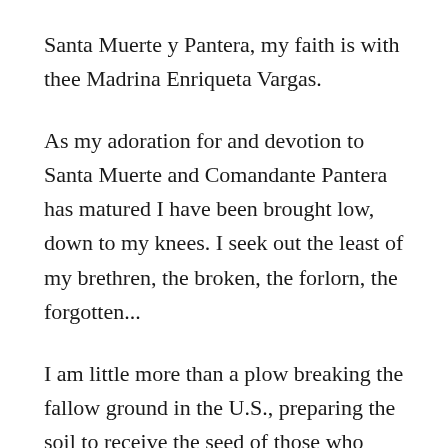Santa Muerte y Pantera, my faith is with thee Madrina Enriqueta Vargas.
As my adoration for and devotion to Santa Muerte and Comandante Pantera has matured I have been brought low, down to my knees. I seek out the least of my brethren, the broken, the forlorn, the forgotten...
I am little more than a plow breaking the fallow ground in the U.S., preparing the soil to receive the seed of those who much wiser